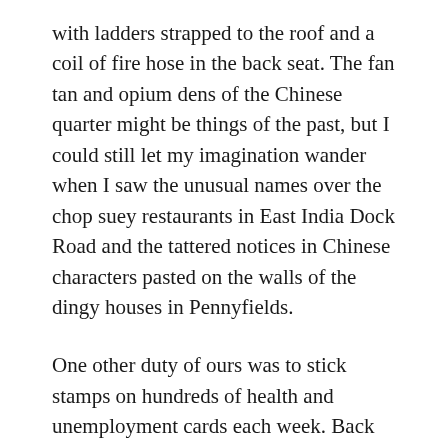with ladders strapped to the roof and a coil of fire hose in the back seat. The fan tan and opium dens of the Chinese quarter might be things of the past, but I could still let my imagination wander when I saw the unusual names over the chop suey restaurants in East India Dock Road and the tattered notices in Chinese characters pasted on the walls of the dingy houses in Pennyfields.
One other duty of ours was to stick stamps on hundreds of health and unemployment cards each week. Back to the old stamp licking again! This was an awkward business, since the stamps had to correspond exactly to the pay sheets, and there were many irregularities due to